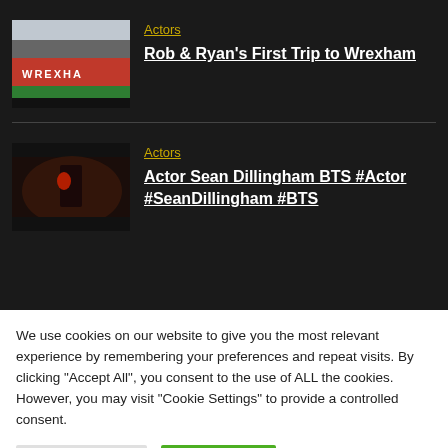[Figure (screenshot): Thumbnail of a football stadium with red seats and 'WREXHA' text visible on the stand]
Actors
Rob & Ryan's First Trip to Wrexham
[Figure (screenshot): Dark moody thumbnail showing a person with a red element, dramatic lighting]
Actors
Actor Sean Dillingham BTS #Actor #SeanDillingham #BTS
We use cookies on our website to give you the most relevant experience by remembering your preferences and repeat visits. By clicking "Accept All", you consent to the use of ALL the cookies. However, you may visit "Cookie Settings" to provide a controlled consent.
Cookie Settings
Accept All